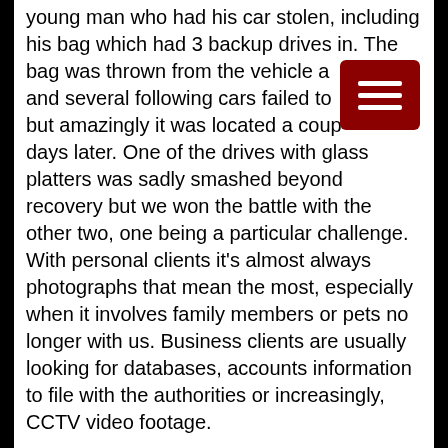young man who had his car stolen, including his bag which had 3 backup drives in. The bag was thrown from the vehicle at speed and several following cars failed to avoid it, but amazingly it was located a couple of days later. One of the drives with glass platters was sadly smashed beyond recovery but we won the battle with the other two, one being a particular challenge. With personal clients it's almost always photographs that mean the most, especially when it involves family members or pets no longer with us. Business clients are usually looking for databases, accounts information to file with the authorities or increasingly, CCTV video footage.
5. What changes have you seen in the 9 years or so you have been trading?
The main changes have been the capacity of hard drives. When we first started, 250GB and 500GB were the norm, it was rare to see something over 1TB. Now people are regularly bringing in 4TB and larger drives